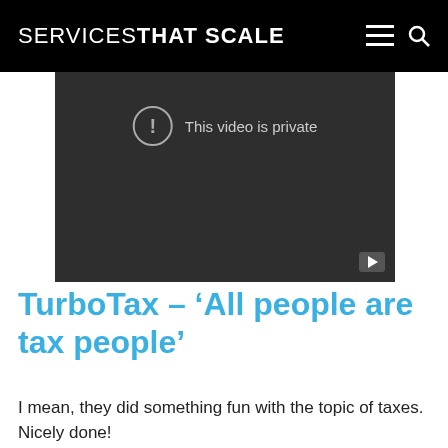SERVICES THAT SCALE
[Figure (screenshot): Embedded video player showing 'This video is private' message on dark background with YouTube button]
TurboTax – ‘All people are tax people’
I mean, they did something fun with the topic of taxes. Nicely done!